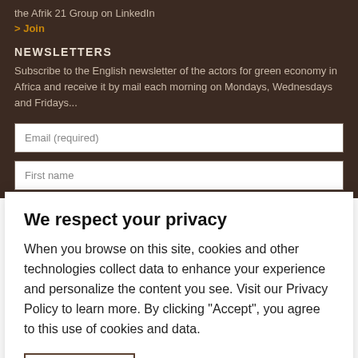the Afrik 21 Group on LinkedIn
> Join
NEWSLETTERS
Subscribe to the English newsletter of the actors for green economy in Africa and receive it by mail each morning on Mondays, Wednesdays and Fridays...
Email (required)
First name
We respect your privacy
When you browse on this site, cookies and other technologies collect data to enhance your experience and personalize the content you see. Visit our Privacy Policy to learn more. By clicking "Accept", you agree to this use of cookies and data.
Accept
AFRIK 21